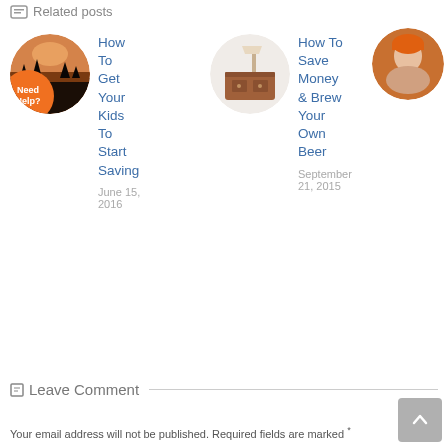Related posts
[Figure (photo): Circular thumbnail of a sunset/winter landscape scene]
How To Get Your Kids To Start Saving
June 15, 2016
[Figure (photo): Orange speech bubble with 'Need Help?' text overlay on thumbnail]
[Figure (photo): Circular thumbnail of a bedroom/furniture scene]
How To Save Money & Brew Your Own Beer
September 21, 2015
[Figure (photo): Circular thumbnail of a person wearing an orange hat]
Leave Comment
Your email address will not be published. Required fields are marked *